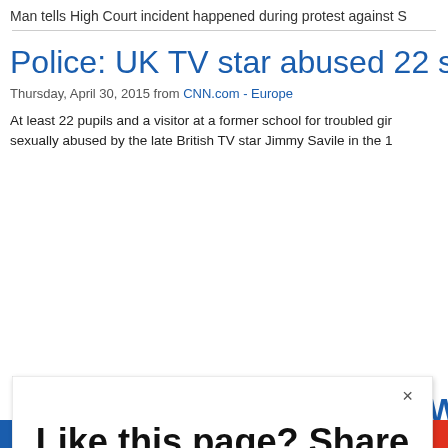Man tells High Court incident happened during protest against S
Police: UK TV star abused 22 studen
Thursday, April 30, 2015 from CNN.com - Europe
At least 22 pupils and a visitor at a former school for troubled gir sexually abused by the late British TV star Jimmy Savile in the 1
[Figure (screenshot): Modal popup overlay with text 'Like this page? Share it with your friends!' and three social sharing buttons: Facebook (blue), Twitter (light blue), and a red plus button. A close (×) button is in the top right. AddThis branding in bottom right corner.]